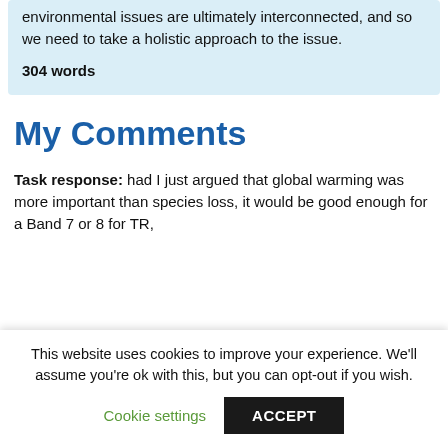environmental issues are ultimately interconnected, and so we need to take a holistic approach to the issue.
304 words
My Comments
Task response: had I just argued that global warming was more important than species loss, it would be good enough for a Band 7 or 8 for TR,
This website uses cookies to improve your experience. We'll assume you're ok with this, but you can opt-out if you wish.
Cookie settings
ACCEPT